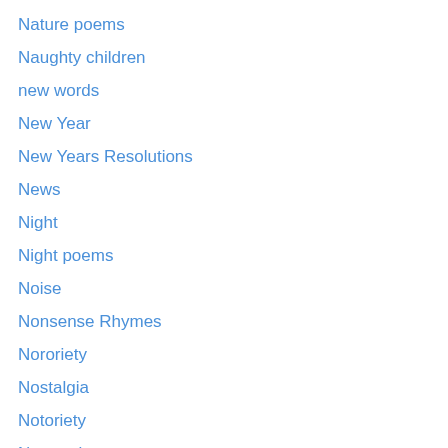Nature poems
Naughty children
new words
New Year
New Years Resolutions
News
Night
Night poems
Noise
Nonsense Rhymes
Nororiety
Nostalgia
Notoriety
Numerology
Obsessions
Ocean
off season
One word photo challenge
Organization
Originality